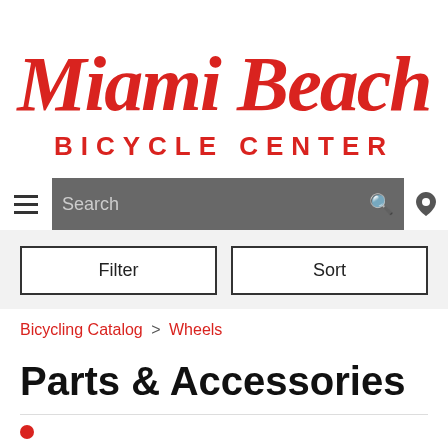[Figure (logo): Miami Beach Bicycle Center logo in red script and bold sans-serif text]
Search bar with hamburger menu, search input, search icon, and location icon
Filter | Sort
Bicycling Catalog > Wheels
Parts & Accessories